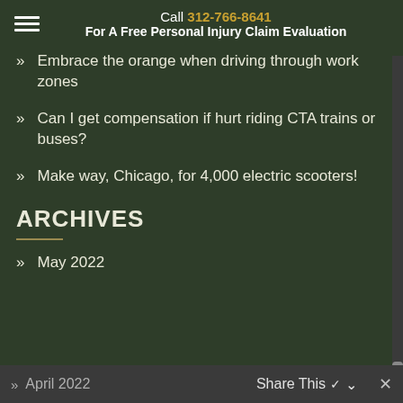Call 312-766-8641 For A Free Personal Injury Claim Evaluation
Embrace the orange when driving through work zones
Can I get compensation if hurt riding CTA trains or buses?
Make way, Chicago, for 4,000 electric scooters!
ARCHIVES
May 2022
April 2022